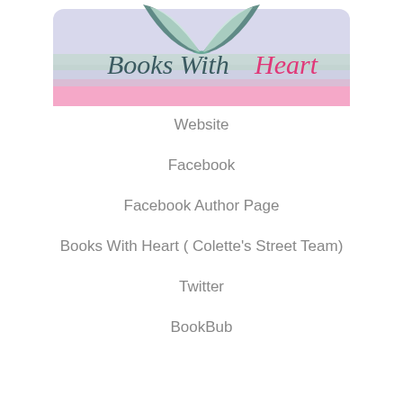[Figure (logo): Books With Heart logo showing an open book with green/teal pages and a light purple/lavender cloud-like background with a pink stripe at the bottom. Text reads 'Books With Heart' in cursive/script, with 'Books With' in dark teal and 'Heart' in pink.]
Website
Facebook
Facebook Author Page
Books With Heart ( Colette's Street Team)
Twitter
BookBub